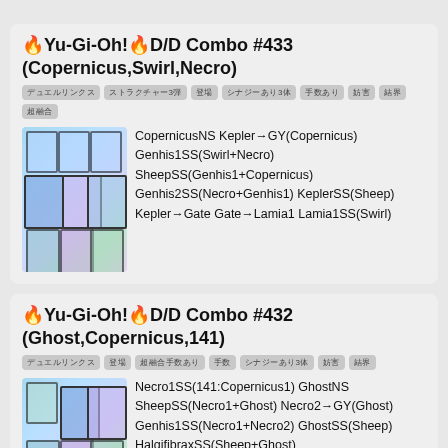🔥Yu-Gi-Oh!🔥D/D Combo #433 (Copernicus,Swirl,Necro)
デュエルリンクス ストラクチャー3弾 登場 シナジーあり3体 手数あり 妨害 結界 超融合
CopernicusNS Kepler→GY(Copernicus) Genhis1SS(Swirl+Necro) SheepSS(Genhis1+Copernicus) Genhis2SS(Necro+Genhis1) KeplerSS(Sheep) Kepler→Gate Gate→Lamia1 Lamia1SS(Swirl)
🔥Yu-Gi-Oh!🔥D/D Combo #432 (Ghost,Copernicus,141)
デュエルリンクス 登場 超融合手数あり 手数 シナジーあり3体 妨害 結界
Necro1SS(141:Copernicus1) GhostNS SheepSS(Necro1+Ghost) Necro2→GY(Ghost) Genhis1SS(Necro1+Necro2) GhostSS(Sheep) HalqifibraxSS(Sheep+Ghost)